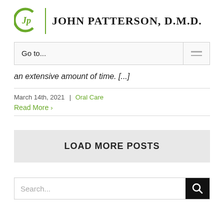[Figure (logo): John Patterson D.M.D. logo with green circular JP monogram and vertical green divider line]
Go to...
an extensive amount of time. [...]
March 14th, 2021  |  Oral Care
Read More >
LOAD MORE POSTS
Search...